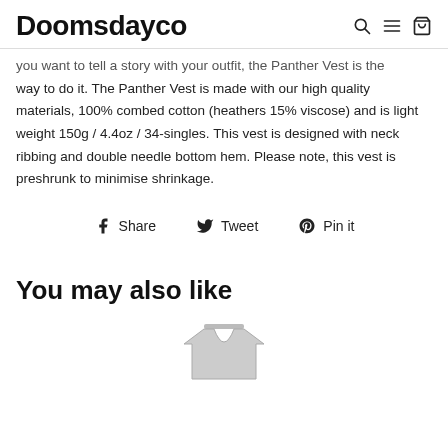Doomsdayco
you want to tell a story with your outfit, the Panther Vest is the way to do it. The Panther Vest is made with our high quality materials, 100% combed cotton (heathers 15% viscose) and is light weight 150g / 4.4oz / 34-singles. This vest is designed with neck ribbing and double needle bottom hem. Please note, this vest is preshrunk to minimise shrinkage.
Share   Tweet   Pin it
You may also like